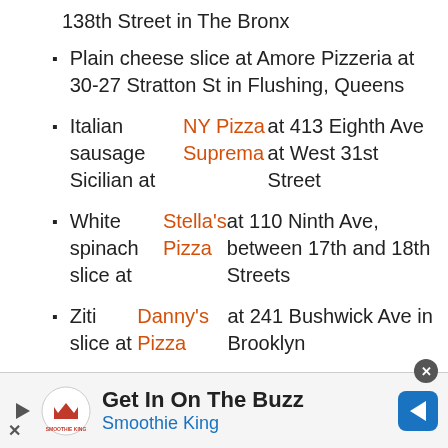138th Street in The Bronx
Plain cheese slice at Amore Pizzeria at 30-27 Stratton St in Flushing, Queens
Italian sausage Sicilian at NY Pizza Suprema at 413 Eighth Ave at West 31st Street
White spinach slice at Stella's Pizza at 110 Ninth Ave, between 17th and 18th Streets
Ziti slice at Danny's Pizza at 241 Bushwick Ave in Brooklyn
Plain cheese slice at Rogelio's Pizza at 298 Irving
[Figure (infographic): Advertisement banner for Smoothie King: Get In On The Buzz, with logo and navigation arrow icon]